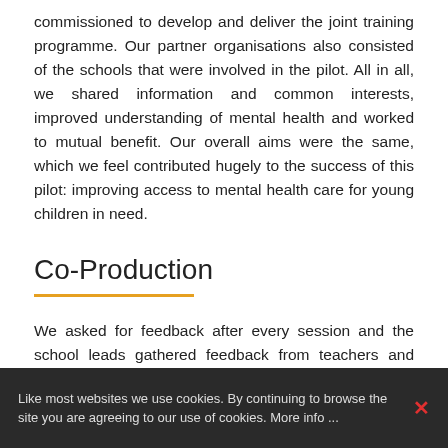commissioned to develop and deliver the joint training programme. Our partner organisations also consisted of the schools that were involved in the pilot. All in all, we shared information and common interests, improved understanding of mental health and worked to mutual benefit. Our overall aims were the same, which we feel contributed hugely to the success of this pilot: improving access to mental health care for young children in need.
Co-Production
We asked for feedback after every session and the school leads gathered feedback from teachers and students. School staff also gave feedback about the pilot via a specially devised tool,
Like most websites we use cookies. By continuing to browse the site you are agreeing to our use of cookies. More info ...